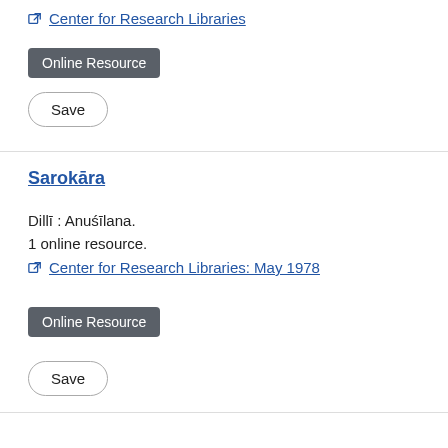🔗 Center for Research Libraries
Online Resource
Save
Sarokāra
Dillī : Anuśīlana.
1 online resource.
🔗 Center for Research Libraries: May 1978
Online Resource
Save